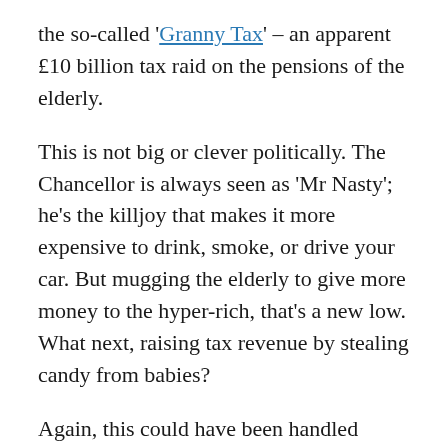the so-called 'Granny Tax' – an apparent £10 billion tax raid on the pensions of the elderly.
This is not big or clever politically. The Chancellor is always seen as 'Mr Nasty'; he's the killjoy that makes it more expensive to drink, smoke, or drive your car. But mugging the elderly to give more money to the hyper-rich, that's a new low. What next, raising tax revenue by stealing candy from babies?
Again, this could have been handled better with a little thought about the message. It's actually tied in to the Lib Dems' much vaunted increase in the tax free personal allowance – their manifesto pledge was that, in time, this